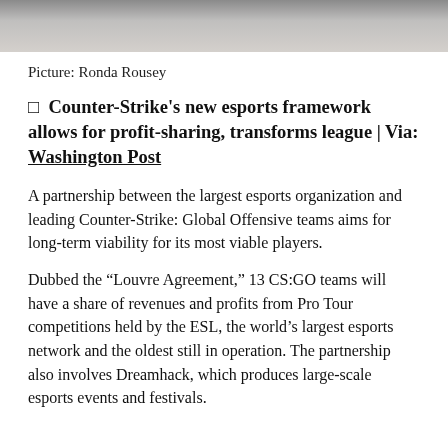[Figure (photo): Cropped photo showing partial figures, appears to be sports/MMA related image strip at top of page]
Picture: Ronda Rousey
🔲  Counter-Strike's new esports framework allows for profit-sharing, transforms league | Via: Washington Post
A partnership between the largest esports organization and leading Counter-Strike: Global Offensive teams aims for long-term viability for its most viable players.
Dubbed the “Louvre Agreement,” 13 CS:GO teams will have a share of revenues and profits from Pro Tour competitions held by the ESL, the world’s largest esports network and the oldest still in operation. The partnership also involves Dreamhack, which produces large-scale esports events and festivals.